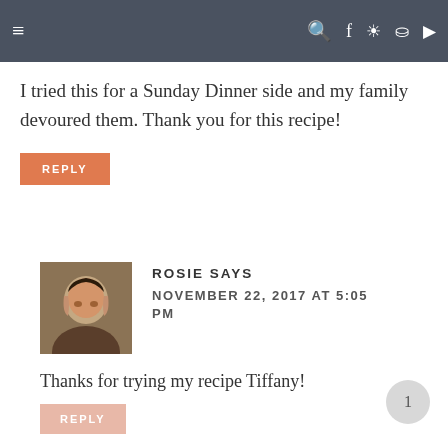Navigation bar with hamburger menu and social icons
I tried this for a Sunday Dinner side and my family devoured them. Thank you for this recipe!
REPLY
ROSIE SAYS
NOVEMBER 22, 2017 AT 5:05 PM
Thanks for trying my recipe Tiffany!
REPLY